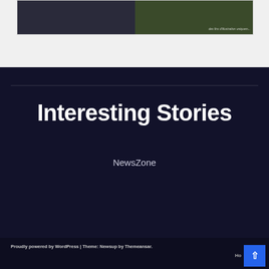[Figure (photo): Two-panel image card: left panel shows dark figures/people, right panel shows outdoor greenery scene with watermark text]
Interesting Stories
NewsZone
Proudly powered by WordPress | Theme: Newsup by Themeansar.